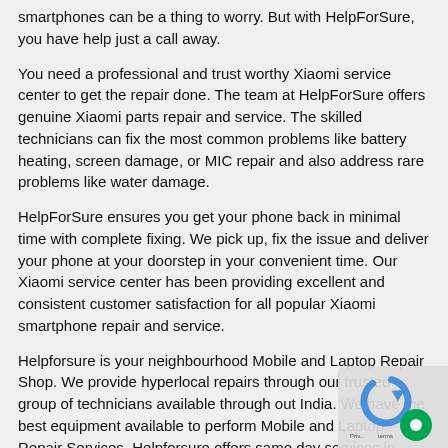smartphones can be a thing to worry. But with HelpForSure, you have help just a call away.
You need a professional and trust worthy Xiaomi service center to get the repair done. The team at HelpForSure offers genuine Xiaomi parts repair and service. The skilled technicians can fix the most common problems like battery heating, screen damage, or MIC repair and also address rare problems like water damage.
HelpForSure ensures you get your phone back in minimal time with complete fixing. We pick up, fix the issue and deliver your phone at your doorstep in your convenient time. Our Xiaomi service center has been providing excellent and consistent customer satisfaction for all popular Xiaomi smartphone repair and service.
Helpforsure is your neighbourhood Mobile and Laptop Repair Shop. We provide hyperlocal repairs through our trusted group of technicians available through out India. We have the best equipment available to perform Mobile and Laptop Repair Services. Helpforsure offers same day services in Bangalore and Hyderabad. We also provide pickup and delivery in rest of the country.
Are you in India & have a problem with your laptop? Did yo... your phone? With 24/7 service, HelpForSure offers expert ... at your doorstep i. Affordable cost and trustworthy professionals